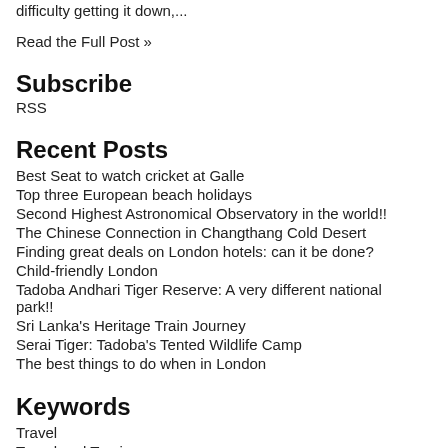difficulty getting it down,...
Read the Full Post »
Subscribe
RSS
Recent Posts
Best Seat to watch cricket at Galle
Top three European beach holidays
Second Highest Astronomical Observatory in the world!!
The Chinese Connection in Changthang Cold Desert
Finding great deals on London hotels: can it be done?
Child-friendly London
Tadoba Andhari Tiger Reserve: A very different national park!!
Sri Lanka's Heritage Train Journey
Serai Tiger: Tadoba's Tented Wildlife Camp
The best things to do when in London
Keywords
Travel
Travel and Tourism